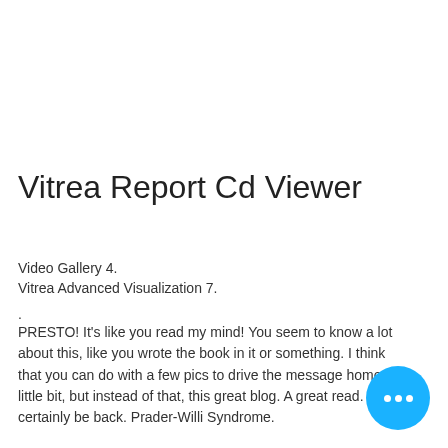Vitrea Report Cd Viewer
Video Gallery 4.
Vitrea Advanced Visualization 7.
.
PRESTO! It's like you read my mind! You seem to know a lot about this, like you wrote the book in it or something. I think that you can do with a few pics to drive the message home a little bit, but instead of that, this great blog. A great read. I'll certainly be back. Prader-Willi Syndrome.